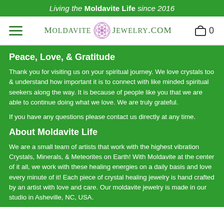Living the Moldavite Life since 2016
[Figure (logo): MoldaviteJewelry.com logo with purple geometric gem icon, hamburger menu on left, shopping cart with 0 on right]
Peace, Love, & Gratitude
Thank you for visiting us on your spiritual journey. We love crystals too & understand how important it is to connect with like minded spiritual seekers along the way. It is because of people like you that we are able to continue doing what we love. We are truly grateful.
If you have any questions please contact us directly at any time.
About Moldavite Life
We are a small team of artists that work with the highest vibration Crystals, Minerals, & Meteorites on Earth! With Moldavite at the center of it all, we work with these healing energies on a daily basis and love every minute of it! Each piece of crystal healing jewelry is hand crafted by an artist with love and care. Our moldavite jewelry is made in our studio in Asheville, NC, USA.